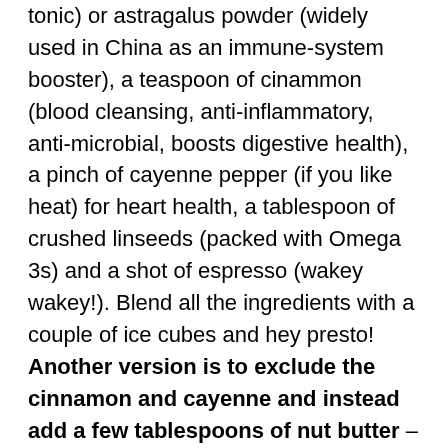tonic) or astragalus powder (widely used in China as an immune-system booster), a teaspoon of cinammon (blood cleansing, anti-inflammatory, anti-microbial, boosts digestive health), a pinch of cayenne pepper (if you like heat) for heart health, a tablespoon of crushed linseeds (packed with Omega 3s) and a shot of espresso (wakey wakey!). Blend all the ingredients with a couple of ice cubes and hey presto! Another version is to exclude the cinnamon and cayenne and instead add a few tablespoons of nut butter – peanut, tahini, hazelnut, whatever you like, for extra protein and other nutty benefits. Yet another option is to add half an avocado and a banana as well, both packed with heart-healthy fats, collagen, B6 and other mood-enhancing vitamins and minerals like potassium and magnesium). Mixed frozen red berries are also high in antioxidants and vitamin C and mix